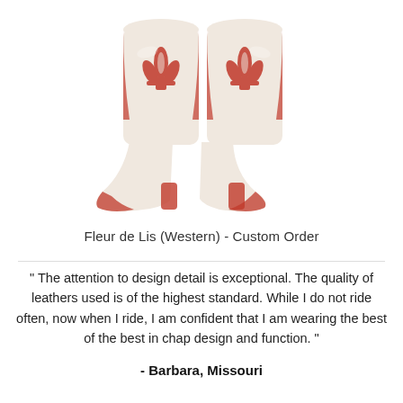[Figure (illustration): Two decorative cowboy/western boots with fleur de lis embroidery pattern in red and cream/white colors, viewed from behind, shown from ankle down.]
Fleur de Lis (Western) - Custom Order
" The attention to design detail is exceptional. The quality of leathers used is of the highest standard. While I do not ride often, now when I ride, I am confident that I am wearing the best of the best in chap design and function. "
- Barbara, Missouri